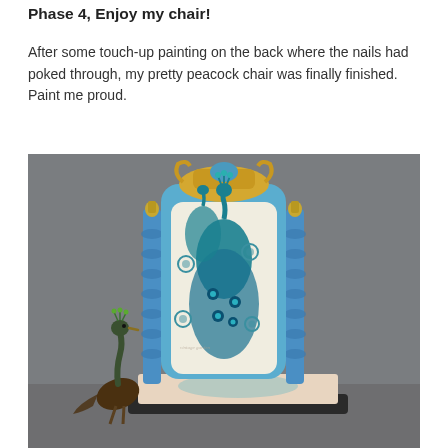Phase 4, Enjoy my chair!
After some touch-up painting on the back where the nails had poked through, my pretty peacock chair was finally finished. Paint me proud.
[Figure (photo): A beautifully painted blue chair with peacock fabric upholstery on the back, featuring ornate carved details painted in gold and teal. The chair has spiral/bobbin-style posts. In front of the chair sits a decorative peacock figurine. The background is grey.]